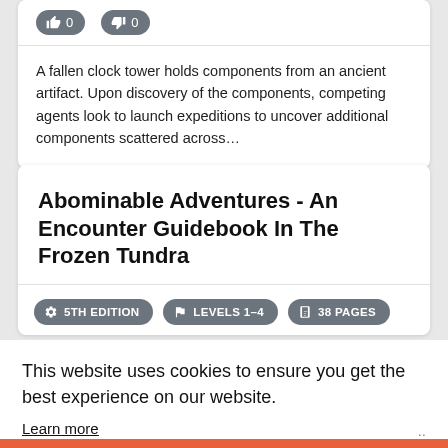[Figure (other): Vote buttons showing thumbs up with count 0 and thumbs down with count 0 on gray pill-shaped buttons]
A fallen clock tower holds components from an ancient artifact. Upon discovery of the components, competing agents look to launch expeditions to uncover additional components scattered across…
Abominable Adventures - An Encounter Guidebook In The Frozen Tundra
[Figure (other): Three gray badge pills: gear icon 5TH EDITION, flag icon LEVELS 1-4, book icon 38 PAGES]
This website uses cookies to ensure you get the best experience on our website.
Learn more
Got it!